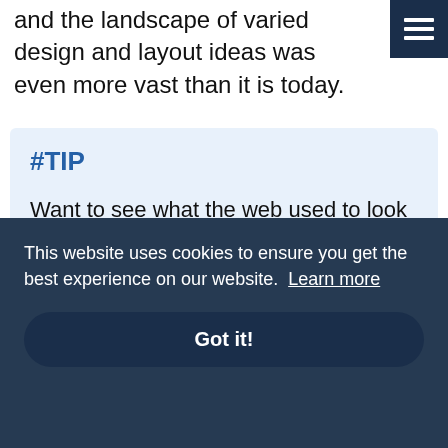and the landscape of varied design and layout ideas was even more vast than it is today.
#TIP
Want to see what the web used to look like? Use Wayback Machine to view archived
This website uses cookies to ensure you get the best experience on our website. Learn more
Got it!